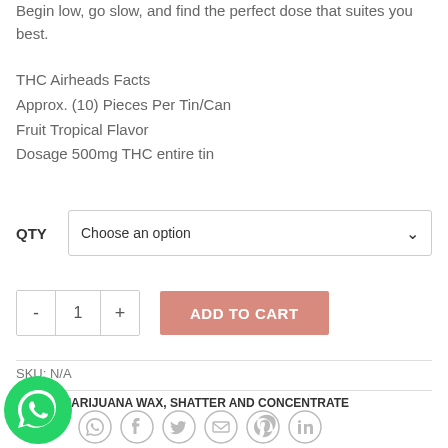Begin low, go slow, and find the perfect dose that suites you best.
THC Airheads Facts
Approx. (10) Pieces Per Tin/Can
Fruit Tropical Flavor
Dosage 500mg THC entire tin
QTY   Choose an option
- 1 +   ADD TO CART
SKU: N/A
ry: BUY MARIJUANA WAX, SHATTER AND CONCENTRATE
[Figure (logo): WhatsApp green circular icon with phone handset symbol]
[Figure (infographic): Social media share icons: WhatsApp, Facebook, Twitter, Email, Pinterest, LinkedIn in grey circles]